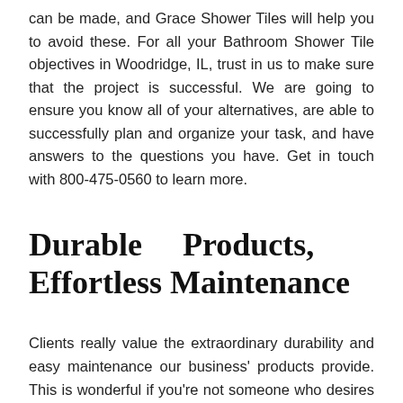can be made, and Grace Shower Tiles will help you to avoid these. For all your Bathroom Shower Tile objectives in Woodridge, IL, trust in us to make sure that the project is successful. We are going to ensure you know all of your alternatives, are able to successfully plan and organize your task, and have answers to the questions you have. Get in touch with 800-475-0560 to learn more.
Durable Products, Effortless Maintenance
Clients really value the extraordinary durability and easy maintenance our business' products provide. This is wonderful if you're not someone who desires to waste lots of time making repairs or being required to pay a Woodridge, IL Bathroom Shower Tile organization to do so